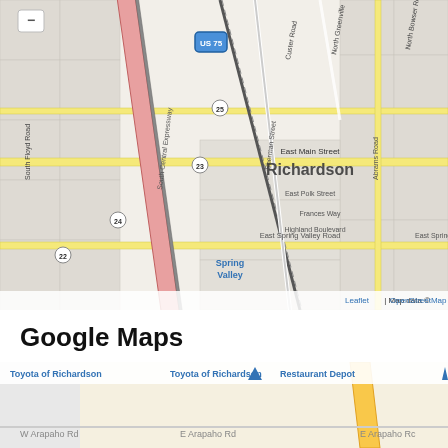[Figure (map): OpenStreetMap/Leaflet map of Richardson, TX area showing South Central Expressway (US 75), streets including East Main Street, East Spring Valley Road, Abrams Road, Sherman Street, Custer Road, North Greenville, North Dorothy Drive, North Grove Road, North Bowser Road, South Floyd Road, Frances Way, Highland Boulevard, East Polk Street. Labels for Richardson and Spring Valley neighborhoods. Exit numbers 22, 23, 24, 25. Attribution: Leaflet | Map data © OpenStreetMap]
Google Maps
[Figure (map): Google Maps screenshot showing Richardson TX area with Toyota of Richardson, Restaurant Depot, W Arapaho Rd, E Arapaho Rd labels visible. Partial view cropped at bottom.]